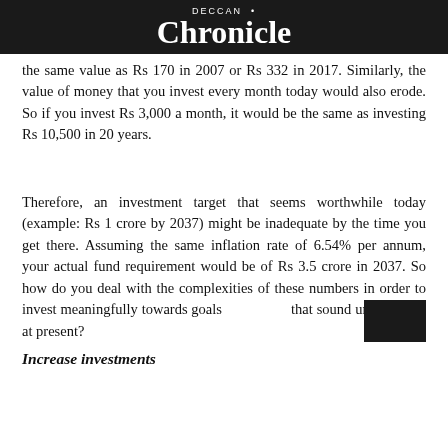DECCAN Chronicle
the same value as Rs 170 in 2007 or Rs 332 in 2017. Similarly, the value of money that you invest every month today would also erode. So if you invest Rs 3,000 a month, it would be the same as investing Rs 10,500 in 20 years.
Therefore, an investment target that seems worthwhile today (example: Rs 1 crore by 2037) might be inadequate by the time you get there. Assuming the same inflation rate of 6.54% per annum, your actual fund requirement would be of Rs 3.5 crore in 2037. So how do you deal with the complexities of these numbers in order to invest meaningfully towards goals that sound unattainable at present?
Increase investments